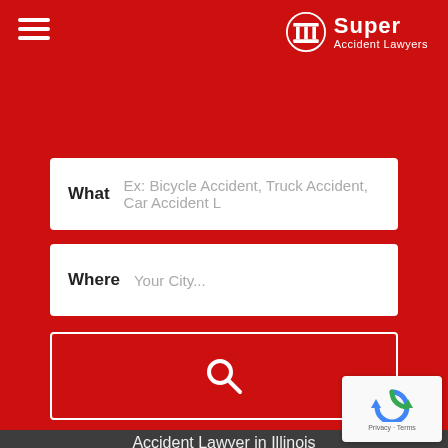[Figure (logo): Super Accident Lawyers logo with pillar icon]
What  Ex: Bicycle Accident, Truck Accident, Car Accident L
Where  Your City...
[Figure (other): Search button with magnifying glass icon]
Accident Lawyer in Illinois
Accident Lawyer in New York
Accident Lawyer in North Carolina
Accident Lawyer in North Dakota
Accident Lawyer in Oregon
Accident Lawyer in Pennsylvania
Accident Lawyer in Tennessee
Accident Lawyer in Texas
Accident Lawyer in Washington
[Figure (other): reCAPTCHA badge with Privacy and Terms links]